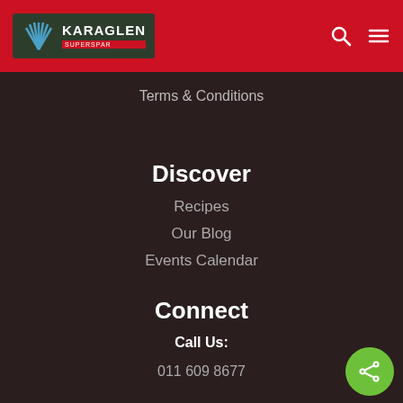[Figure (logo): Karaglen Superspar logo — dark green background with palm leaf graphic, white bold text KARAGLEN, red SUPERSPAR bar below]
Terms & Conditions
Discover
Recipes
Our Blog
Events Calendar
Connect
Call Us:
011 609 8677